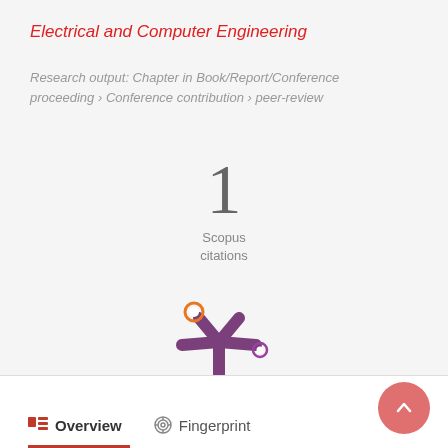Electrical and Computer Engineering
Research output: Chapter in Book/Report/Conference proceeding › Conference contribution › peer-review
1
Scopus
citations
[Figure (logo): Altmetric logo — purple starburst/asterisk shape with orange dot top-left and purple dot right]
Overview   Fingerprint